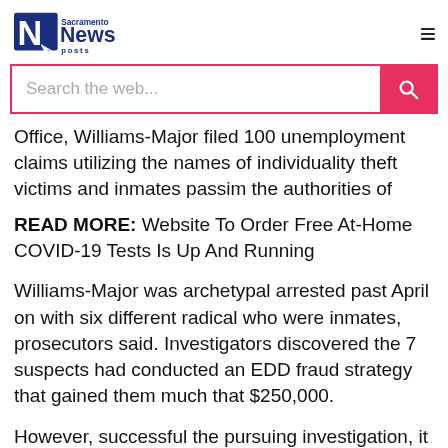Sacramento News Posts
Office, Williams-Major filed 100 unemployment claims utilizing the names of individuality theft victims and inmates passim the authorities of California.
READ MORE: Website To Order Free At-Home COVID-19 Tests Is Up And Running
Williams-Major was archetypal arrested past April on with six different radical who were inmates, prosecutors said. Investigators discovered the 7 suspects had conducted an EDD fraud strategy that gained them much that $250,000.
However, successful the pursuing investigation, it was discovered done contents connected Williams-Major's compartment telephone that the alleged unemployment fraud strategy was much than 10 times larger that